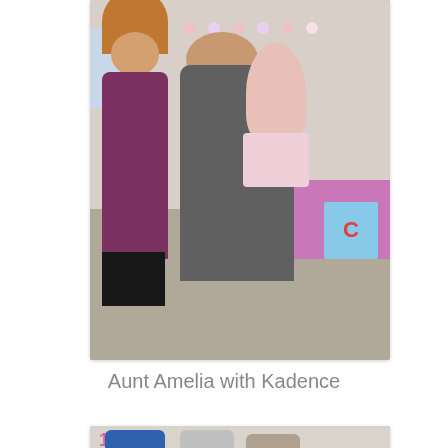[Figure (photo): A girl holding a baby at what appears to be a first birthday party with pink decorations, a number 1, and banner. Another person with red hair stands in the background near a pink table. A blue block with letter C is visible on the right.]
Aunt Amelia with Kadence
[Figure (photo): Partial view of people at a birthday party, showing individuals from behind/side near pink and white decorations.]